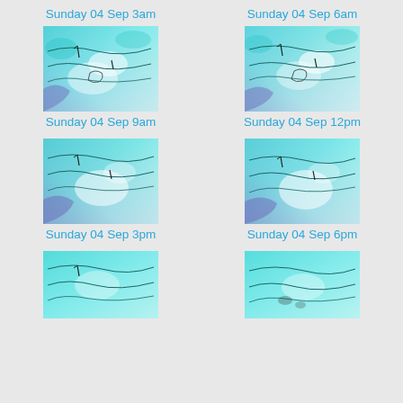Sunday 04 Sep 3am
Sunday 04 Sep 6am
[Figure (map): Weather/ocean map for Sunday 04 Sep 3am showing teal/cyan colored ocean data with contour lines]
[Figure (map): Weather/ocean map for Sunday 04 Sep 6am showing teal/cyan colored ocean data with contour lines]
Sunday 04 Sep 9am
Sunday 04 Sep 12pm
[Figure (map): Weather/ocean map for Sunday 04 Sep 9am showing teal/cyan colored ocean data with contour lines]
[Figure (map): Weather/ocean map for Sunday 04 Sep 12pm showing teal/cyan colored ocean data with contour lines]
Sunday 04 Sep 3pm
Sunday 04 Sep 6pm
[Figure (map): Weather/ocean map for Sunday 04 Sep 3pm showing teal/cyan colored ocean data with contour lines]
[Figure (map): Weather/ocean map for Sunday 04 Sep 6pm showing teal/cyan colored ocean data with contour lines]
[Figure (map): Weather/ocean map (partial) bottom-left showing teal/cyan colored ocean data]
[Figure (map): Weather/ocean map (partial) bottom-right showing teal/cyan colored ocean data]